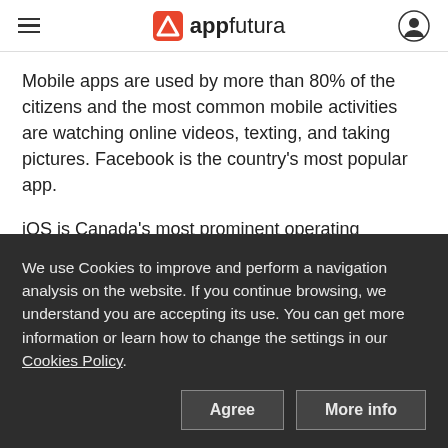appfutura
Mobile apps are used by more than 80% of the citizens and the most common mobile activities are watching online videos, texting, and taking pictures. Facebook is the country's most popular app.
iOS is Canada's most prominent operating system, with Android following behind. At the same time, Apple is the leading vendor with almost 50% of the
We use Cookies to improve and perform a navigation analysis on the website. If you continue browsing, we understand you are accepting its use. You can get more information or learn how to change the settings in our Cookies Policy.